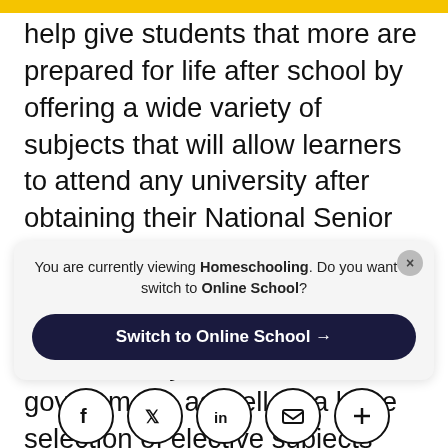help give students that more are prepared for life after school by offering a wide variety of subjects that will allow learners to attend any university after obtaining their National Senior Certificate (NSC) in matric. Learners can take all the compulsory subjects as mandated by the South African government, as well as a large selection of elective subjects suited to their personal interests and abilities, from Physical Sciences to Visual Arts and Hospitality
You are currently viewing Homeschooling. Do you want to switch to Online School?
Switch to Online School →